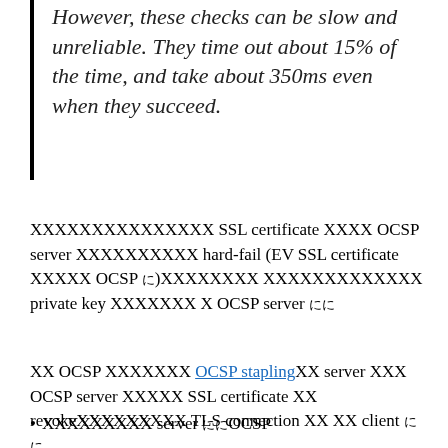However, these checks can be slow and unreliable. They time out about 15% of the time, and take about 350ms even when they succeed.
䊠䊠䊠䊠䊠䊠䊠䊠䊠䊠䊠䊠䊠䊠䊠 SSL certificate 䊠䊠䊠䊠 OCSP server 䊠䊠䊠䊠䊠䊠䊠䊠䊠䊠 hard-fail (EV SSL certificate 䊠䊠䊠䊠䊠 OCSP に)䊠䊠䊠䊠䊠䊠䊠䊠 䊠䊠䊠䊠䊠䊠䊠䊠䊠䊠䊠䊠䊠 private key 䊠䊠䊠䊠䊠䊠䊠 䊠 OCSP server にに
䊠䊠 OCSP 䊠䊠䊠䊠䊠䊠䊠 OCSP stapling䊠䊠 server 䊠䊠䊠 OCSP server 䊠䊠䊠䊠䊠 SSL certificate 䊠䊠 revoke䊠䊠䊠䊠䊠䊠䊠䊠䊠 TLS connection 䊠䊠 䊠䊠 client にに
䊠䊠䊠䊠䊠䊠䊠䊠䊠 server にに OCSP